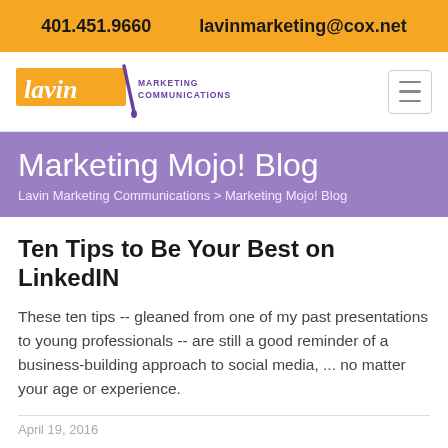401.451.9660    lavinmarketing@cox.net
[Figure (logo): Lavin Marketing Communications logo with cursive 'lavin' text in orange and purple ink pen graphic, followed by 'MARKETING COMMUNICATIONS' in purple text]
Marketing Mojo! Blog
Lavin Marketing Communications > Marketing Mojo! Blog
Ten Tips to Be Your Best on LinkedIN
These ten tips -- gleaned from one of my past presentations to young professionals -- are still a good reminder of a business-building approach to social media, ... no matter your age or experience.
April 19, 2016